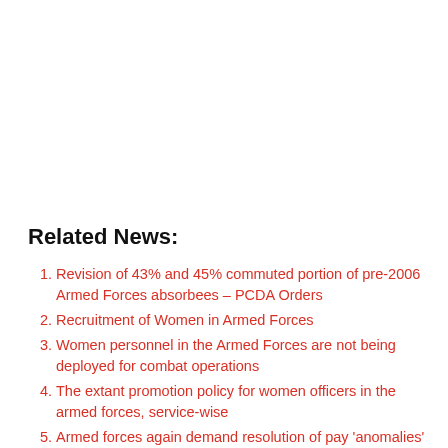Related News:
Revision of 43% and 45% commuted portion of pre-2006 Armed Forces absorbees – PCDA Orders
Recruitment of Women in Armed Forces
Women personnel in the Armed Forces are not being deployed for combat operations
The extant promotion policy for women officers in the armed forces, service-wise
Armed forces again demand resolution of pay 'anomalies' with 7th Pay Commission